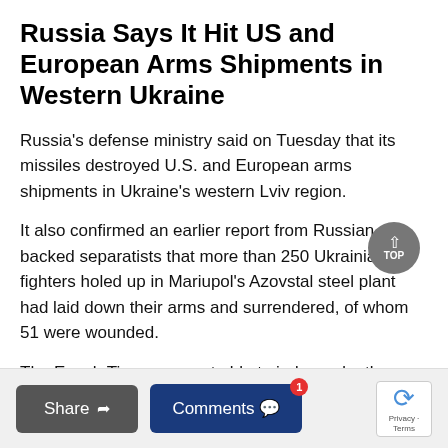Russia Says It Hit US and European Arms Shipments in Western Ukraine
Russia's defense ministry said on Tuesday that its missiles destroyed U.S. and European arms shipments in Ukraine's western Lviv region.
It also confirmed an earlier report from Russian-backed separatists that more than 250 Ukrainian fighters holed up in Mariupol's Azovstal steel plant had laid down their arms and surrendered, of whom 51 were wounded.
The Epoch Times was not able to independently